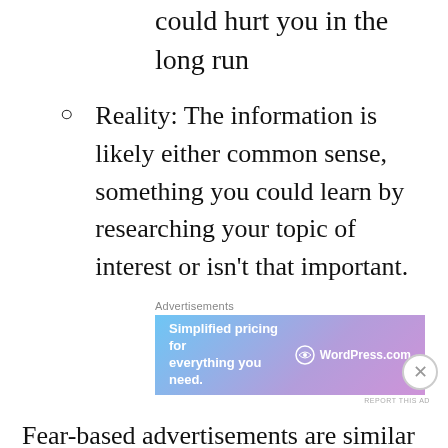could hurt you in the long run
Reality: The information is likely either common sense, something you could learn by researching your topic of interest or isn't that important.
[Figure (other): WordPress.com advertisement banner: 'Simplified pricing for everything you need.' with WordPress logo on gradient blue-purple background.]
Fear-based advertisements are similar and will
[Figure (other): Pocket Casts advertisement banner: 'An app by listeners, for listeners.' on red background with phone image and Pocket Casts logo.]